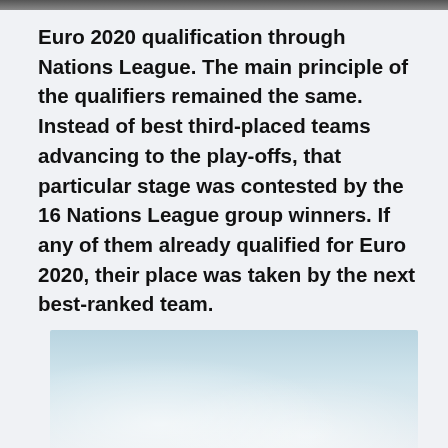[Figure (photo): Partial image at the top of the page, dark gradient strip]
Euro 2020 qualification through Nations League. The main principle of the qualifiers remained the same. Instead of best third-placed teams advancing to the play-offs, that particular stage was contested by the 16 Nations League group winners. If any of them already qualified for Euro 2020, their place was taken by the next best-ranked team.
[Figure (photo): Sky photo with clouds, light blue and white tones, partially visible at the bottom of the page]